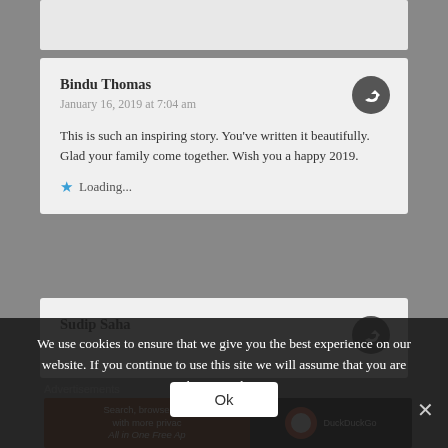[Top gray bar - partial content]
Bindu Thomas
January 16, 2019 at 7:04 am

This is such an inspiring story. You've written it beautifully. Glad your family come together. Wish you a happy 2019.
★ Loading...
Sudip Saha
We use cookies to ensure that we give you the best experience on our website. If you continue to use this site we will assume that you are happy with it.
Ok
Advertisements
Search, browse, and with more privac All in One Free Ap   DuckDuckGo